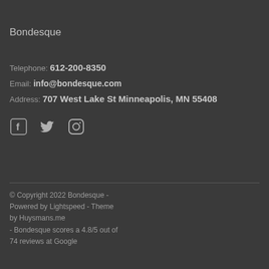Bondesque
Telephone: 612-200-8350
Email: info@bondesque.com
Address: 707 West Lake St Minneapolis, MN 55408
[Figure (illustration): Three social media icons: Facebook (f), Twitter (bird), Instagram (camera)]
© Copyright 2022 Bondesque - Powered by Lightspeed - Theme by Huysmans.me - Bondesque scores a 4.8/5 out of 74 reviews at Google